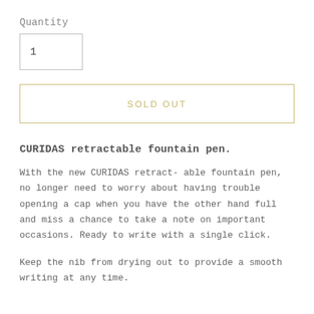Quantity
1
SOLD OUT
CURIDAS retractable fountain pen.
With the new CURIDAS retract- able fountain pen, no longer need to worry about having trouble opening a cap when you have the other hand full and miss a chance to take a note on important occasions. Ready to write with a single click.
Keep the nib from drying out to provide a smooth writing at any time.